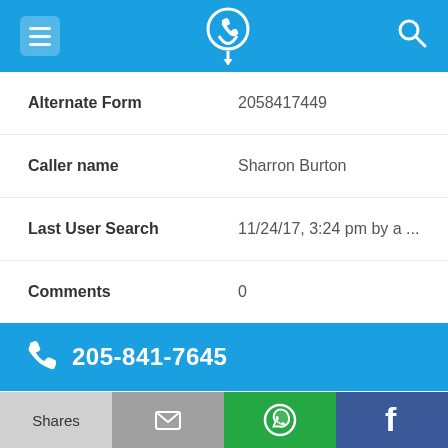Navigation bar with menu, phone locator logo, and search icon
| Field | Value |
| --- | --- |
| Alternate Form | 2058417449 |
| Caller name | Sharron Burton |
| Last User Search | 11/24/17, 3:24 pm by a ... |
| Comments | 0 |
205-841-7645
| Field | Value |
| --- | --- |
| Alternate Form | 2058417645 |
| Caller name | 3 Listings found |
Shares | [email icon] | [WhatsApp icon] | f